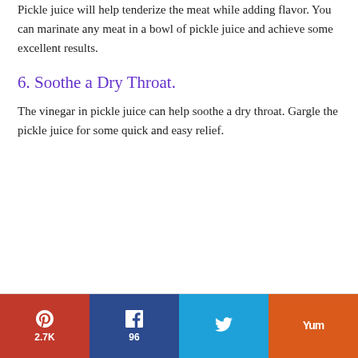Pickle juice will help tenderize the meat while adding flavor. You can marinate any meat in a bowl of pickle juice and achieve some excellent results.
6. Soothe a Dry Throat.
The vinegar in pickle juice can help soothe a dry throat. Gargle the pickle juice for some quick and easy relief.
Pinterest 2.7K | Facebook 96 | Twitter | Yummly